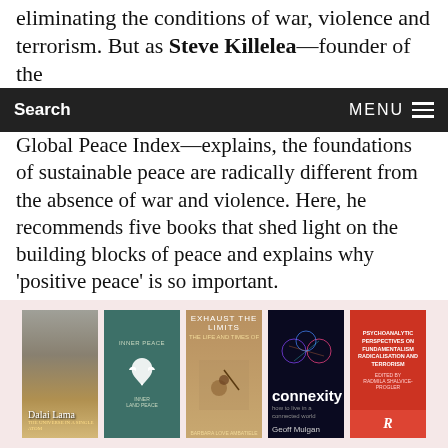eliminating the conditions of war, violence and terrorism. But as Steve Killelea—founder of the
Global Peace Index—explains, the foundations of sustainable peace are radically different from the absence of war and violence. Here, he recommends five books that shed light on the building blocks of peace and explains why 'positive peace' is so important.
Interview by Benedict King
[Figure (photo): Five book covers displayed in a row on a light pink background: (1) Dalai Lama book with face on cover, (2) teal/green hardcover with white bird and dove emblem, (3) 'Exhaust the Limits' cover in tan/gold with figure, (4) 'Connexity' by Geoff Mulgan with dark/neon cover, (5) 'Psychoanalytic Perspectives on Fundamentalism Radicalisation and Terrorism' red cover with Routledge logo.]